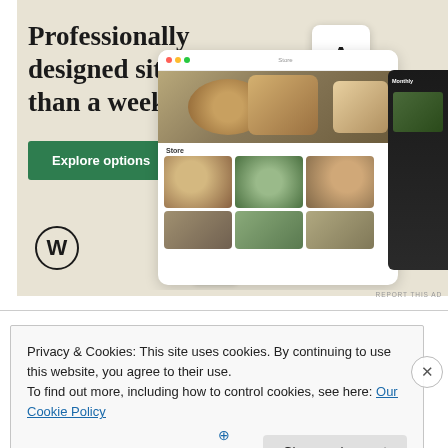[Figure (screenshot): WordPress advertisement banner with beige/cream background showing 'Professionally designed sites in less than a week' headline, green 'Explore options' button, WordPress logo, and website design mockup screenshots showing food/restaurant website]
REPORT THIS AD
Privacy & Cookies: This site uses cookies. By continuing to use this website, you agree to their use.
To find out more, including how to control cookies, see here: Our Cookie Policy